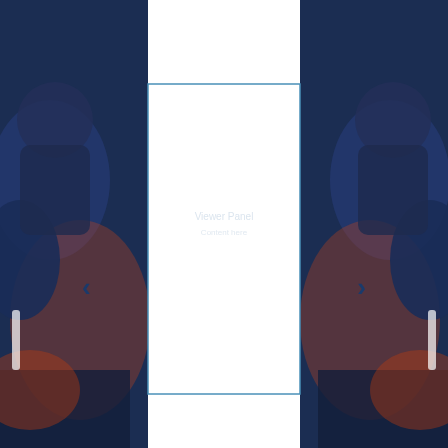[Figure (screenshot): A UI viewer/carousel panel with a white bordered content area centered on the page. Dark blue background on left and right sides showing blurred figures/silhouettes. Navigation chevron arrows (< and >) are positioned on either side of the white panel. The white panel contains faint placeholder text in the center area.]
[Figure (other): Left navigation chevron arrow in dark blue]
[Figure (other): Right navigation chevron arrow in dark blue]